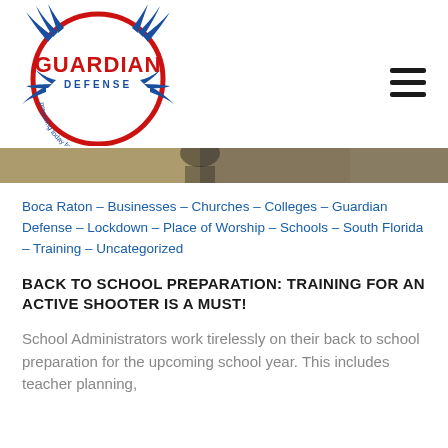[Figure (logo): Guardian Defense logo: circular red border with blue wing design, text 'GUARDIAN DEFENSE' in red and blue, tagline 'preparing today for a safer tomorrow' around the circle]
[Figure (photo): Partial hero/banner image strip showing a blurred indoor scene]
Boca Raton - Businesses - Churches - Colleges - Guardian Defense - Lockdown - Place of Worship - Schools - South Florida - Training - Uncategorized
BACK TO SCHOOL PREPARATION: TRAINING FOR AN ACTIVE SHOOTER IS A MUST!
School Administrators work tirelessly on their back to school preparation for the upcoming school year. This includes teacher planning,